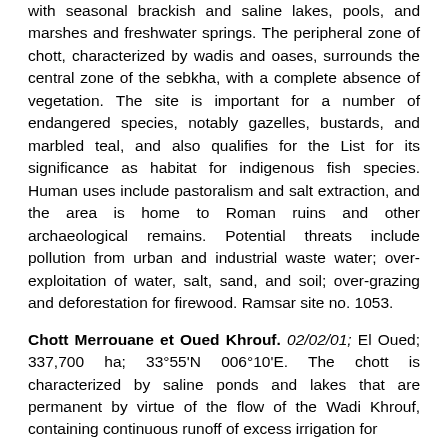with seasonal brackish and saline lakes, pools, and marshes and freshwater springs. The peripheral zone of chott, characterized by wadis and oases, surrounds the central zone of the sebkha, with a complete absence of vegetation. The site is important for a number of endangered species, notably gazelles, bustards, and marbled teal, and also qualifies for the List for its significance as habitat for indigenous fish species. Human uses include pastoralism and salt extraction, and the area is home to Roman ruins and other archaeological remains. Potential threats include pollution from urban and industrial waste water; over-exploitation of water, salt, sand, and soil; over-grazing and deforestation for firewood. Ramsar site no. 1053.
Chott Merrouane et Oued Khrouf. 02/02/01; El Oued; 337,700 ha; 33°55'N 006°10'E. The chott is characterized by saline ponds and lakes that are permanent by virtue of the flow of the Wadi Khrouf, containing continuous runoff of excess irrigation for